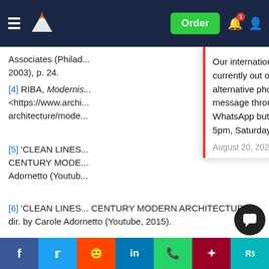Order
Associates (Philad... 2003), p. 24.
[4] RIBA, Modernis... <https://www.archi...architecture/mode...
[5] 'CLEAN LINES... CENTURY MODE... Adornetto (Youtub...
[6] 'CLEAN LINES... CENTURY MODERN ARCHITECTURE, dir. by Carole Adornetto (Youtube, 2015).
[7] PHAIDON, Le Corbusier's Grand Designs: Villa Sa... (2015)
<https://uk...cles/2019/
Our international phone number (+971 600 575 297) is currently out of service. Whilst we fix this, please use the alternative phone numbers provided on the contact page, message through your customer account or click the WhatsApp button from your mobile (Monday – Friday 9am – 5pm, Saturday 10am – 6pm UK time).
August 20, 2022